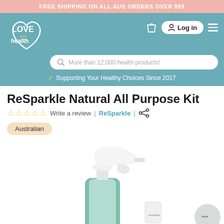FREE SHIPPING ON ALL AUS ORDERS OVER $99
[Figure (logo): Love Your Health logo with heart shape on teal background]
More than 12,000 health products!
Supporting Your Healthy Choices Since 2017
ReSparkle Natural All Purpose Kit
☆☆☆☆☆ Write a review | ReSparkle |
Australian
[Figure (photo): ReSparkle Natural All Purpose Kit showing a glass spray bottle with green silicone sleeve and white trigger spray head, with a small packet of cleaning concentrate]